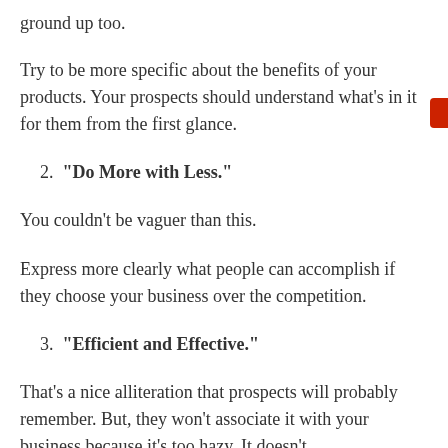ground up too.
Try to be more specific about the benefits of your products. Your prospects should understand what's in it for them from the first glance.
2. “Do More with Less.”
You couldn’t be vaguer than this.
Express more clearly what people can accomplish if they choose your business over the competition.
3. “Efficient and Effective.”
That’s a nice alliteration that prospects will probably remember. But, they won’t associate it with your business because it’s too hazy. It doesn’t